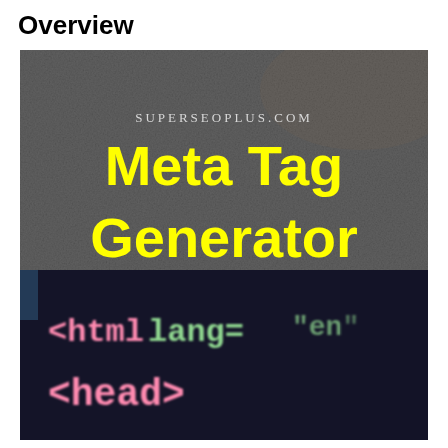Overview
[Figure (illustration): Composite image: top half shows a dark gray textured background with 'SUPERSEOPLUS.COM' in small white spaced letters and 'Meta Tag Generator' in large yellow bold text. Bottom half shows a dark navy background with HTML code snippets '<html lang=' and '<head>' rendered in pink/salmon and green colored monospace font, simulating a code editor screenshot.]